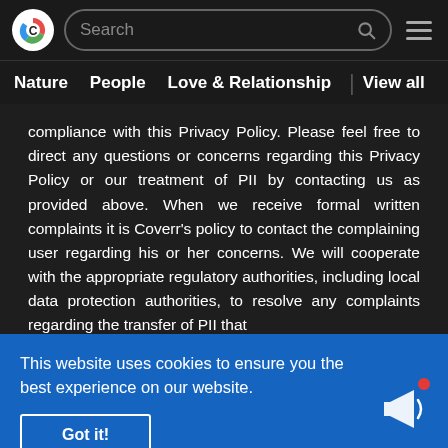Coverr - Search navigation header with logo, search box, and menu icon
Nature | People | Love & Relationship | View all
compliance with this Privacy Policy. Please feel free to direct any questions or concerns regarding this Privacy Policy or our treatment of PII by contacting us as provided above. When we receive formal written complaints it is Coverr's policy to contact the complaining user regarding his or her concerns. We will cooperate with the appropriate regulatory authorities, including local data protection authorities, to resolve any complaints regarding the transfer of PII that
This website uses cookies to ensure you the best experience on our website.
Got it!